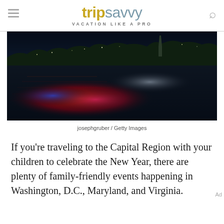tripsavvy VACATION LIKE A PRO
[Figure (photo): Night photo of Washington D.C. waterfront with colorful light reflections (red, blue, white) on the water, Washington Monument visible in background]
josephgruber / Getty Images
If you're traveling to the Capital Region with your children to celebrate the New Year, there are plenty of family-friendly events happening in Washington, D.C., Maryland, and Virginia.